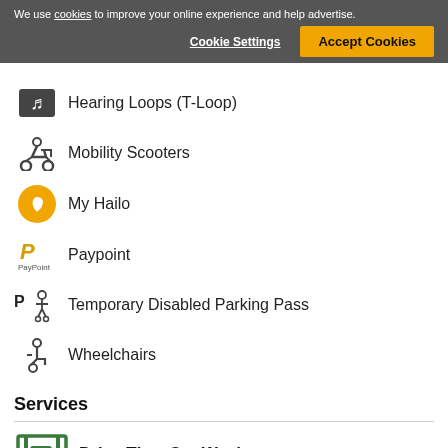We use cookies to improve your online experience and help advertise.
Cookie Settings | Accept Cookies
Hearing Loops (T-Loop)
Mobility Scooters
My Hailo
Paypoint
Temporary Disabled Parking Pass
Wheelchairs
Services
Drive Thru Car Wash
George